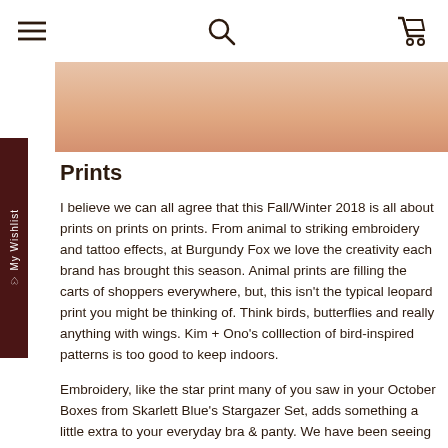Navigation bar with menu, search, and cart icons
[Figure (photo): Partial view of a person wearing lingerie or similar clothing, skin-toned background, cropped image strip]
Prints
I believe we can all agree that this Fall/Winter 2018 is all about prints on prints on prints. From animal to striking embroidery and tattoo effects, at Burgundy Fox we love the creativity each brand has brought this season. Animal prints are filling the carts of shoppers everywhere, but, this isn't the typical leopard print you might be thinking of. Think birds, butterflies and really anything with wings. Kim + Ono's colllection of bird-inspired patterns is too good to keep indoors.
Embroidery, like the star print many of you saw in your October Boxes from Skarlett Blue's Stargazer Set, adds something a little extra to your everyday bra & panty. We have been seeing embroidery styled into shapes